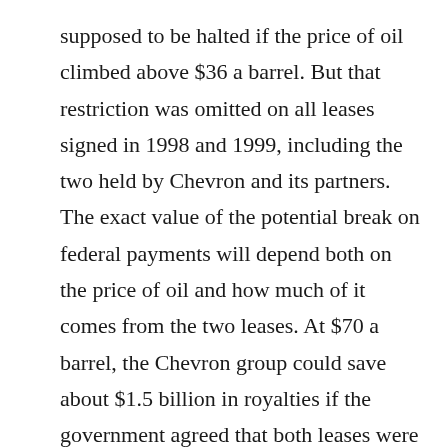supposed to be halted if the price of oil climbed above $36 a barrel. But that restriction was omitted on all leases signed in 1998 and 1999, including the two held by Chevron and its partners. The exact value of the potential break on federal payments will depend both on the price of oil and how much of it comes from the two leases. At $70 a barrel, the Chevron group could save about $1.5 billion in royalties if the government agreed that both leases were contributing to Chevron's production … The Chevron leases are the biggest, but hardly the only leases that allow oil companies to avoid